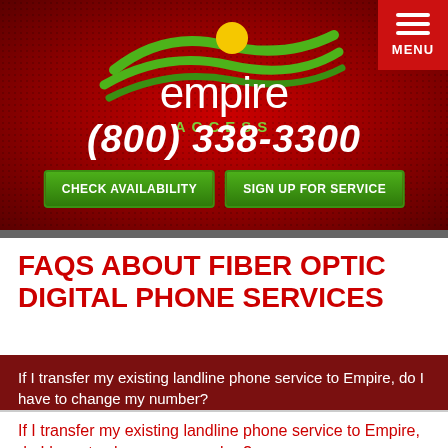[Figure (logo): Empire Access logo with green swoosh/wave design and yellow sun, white text 'empire' and green text 'ACCESS' on red banner background]
(800) 338-3300
CHECK AVAILABILITY
SIGN UP FOR SERVICE
FAQS ABOUT FIBER OPTIC DIGITAL PHONE SERVICES
If I transfer my existing landline phone service to Empire, do I have to change my number?
If I transfer my existing landline phone service to Empire, do I have to change my number?